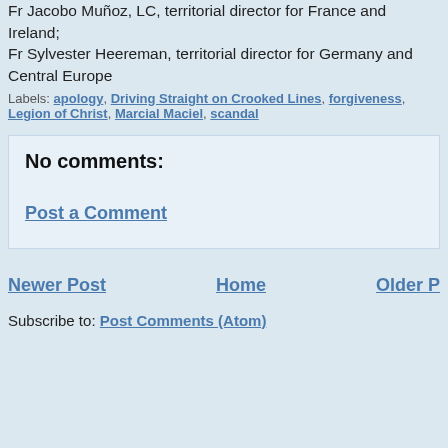Fr Jacobo Muñoz, LC, territorial director for France and Ireland; Fr Sylvester Heereman, territorial director for Germany and Central Europe
Labels: apology, Driving Straight on Crooked Lines, forgiveness, Legion of Christ, Marcial Maciel, scandal
No comments:
Post a Comment
Newer Post   Home   Older Post
Subscribe to: Post Comments (Atom)